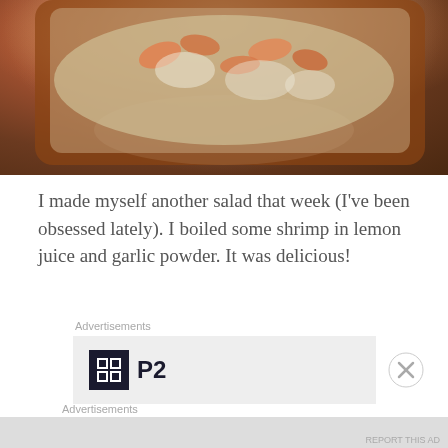[Figure (photo): Close-up photo of a shrimp salad dish in a terracotta/brown baking dish, showing shrimp and white cheese or sauce, viewed from above at an angle.]
I made myself another salad that week (I've been obsessed lately). I boiled some shrimp in lemon juice and garlic powder. It was delicious!
Advertisements
[Figure (logo): Advertisement box with a dark square logo containing a grid icon and the text 'P2' in bold.]
Advertisements